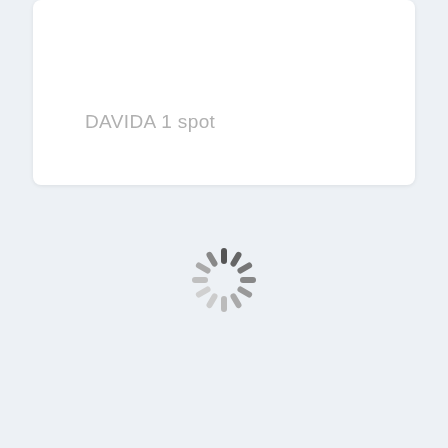DAVIDA 1 spot
[Figure (infographic): Loading spinner icon — a circular arrangement of radial dashes in varying shades of gray, indicating a loading state in a web UI.]